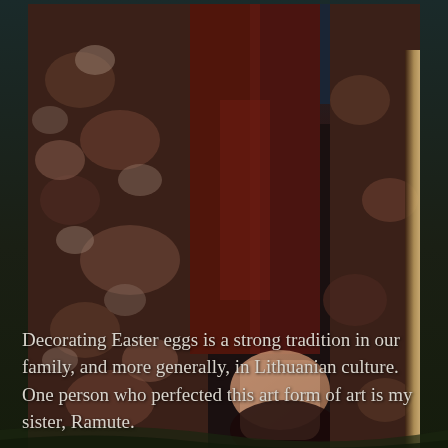[Figure (photo): A vintage, slightly blurry photograph showing a person in a dark reddish-brown coat or dress standing between tree trunks. The person's arm and hand are visible. The photo has warm, aged tones with dark shadows. Below the photo is a dark grassy field background.]
Decorating Easter eggs is a strong tradition in our family, and more generally, in Lithuanian culture. One person who perfected this art form of art is my sister, Ramute.